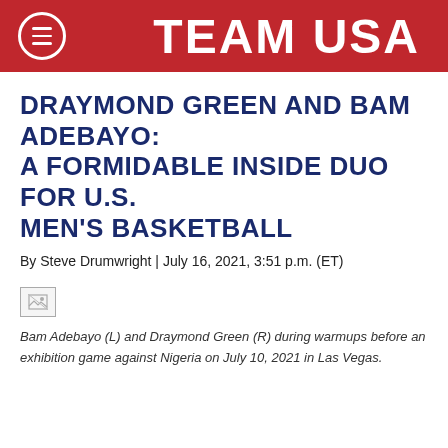TEAM USA
DRAYMOND GREEN AND BAM ADEBAYO: A FORMIDABLE INSIDE DUO FOR U.S. MEN'S BASKETBALL
By Steve Drumwright | July 16, 2021, 3:51 p.m. (ET)
[Figure (photo): Broken image placeholder for photo of Bam Adebayo (L) and Draymond Green (R) during warmups before an exhibition game against Nigeria on July 10, 2021 in Las Vegas.]
Bam Adebayo (L) and Draymond Green (R) during warmups before an exhibition game against Nigeria on July 10, 2021 in Las Vegas.